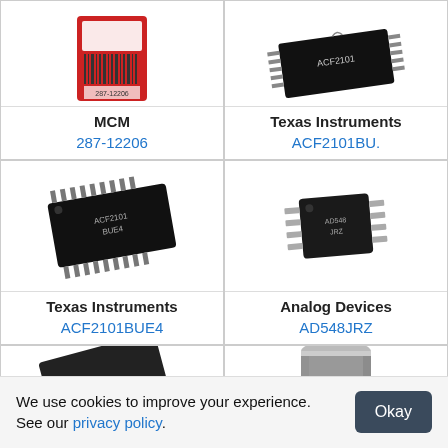[Figure (photo): Product package photo (MCM 287-12206), partially visible, cropped at top]
[Figure (photo): IC chip photo (ACF2101BU.), partially visible, cropped at top]
MCM
287-12206
Texas Instruments
ACF2101BU.
[Figure (photo): IC chip SOIC package (ACF2101BUE4) - Texas Instruments]
[Figure (photo): IC chip SOIC-8 package (AD548JRZ) - Analog Devices]
Texas Instruments
ACF2101BUE4
Analog Devices
AD548JRZ
[Figure (photo): IC chip package partially visible at bottom, cropped]
[Figure (photo): Cylindrical component partially visible at bottom, cropped]
We use cookies to improve your experience. See our privacy policy.